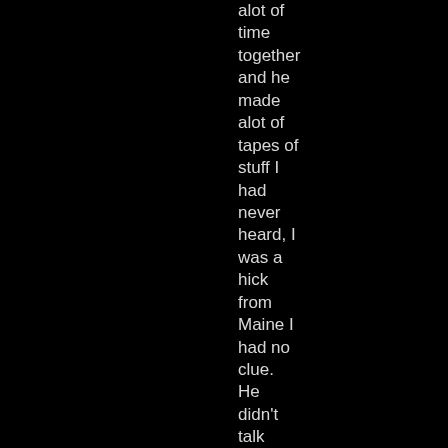alot of time together and he made alot of tapes of stuff I had never heard, I was a hick from Maine I had no clue. He didn't talk much about the